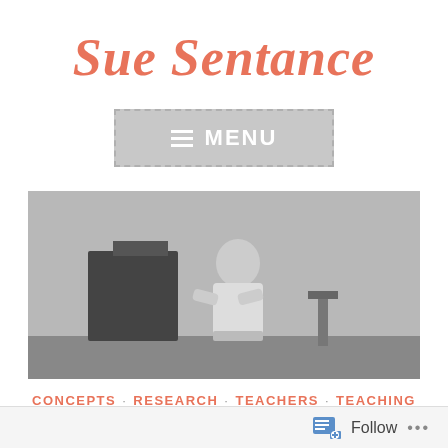Sue Sentance
[Figure (other): Menu button with hamburger icon and dashed border on grey background]
[Figure (photo): Black and white photo of a woman speaking at the front of a room, with a lectern to her left]
CONCEPTS · RESEARCH · TEACHERS · TEACHING
Threshold Concepts in Computer Programming
[Figure (other): Follow bar at bottom with follow icon and text]